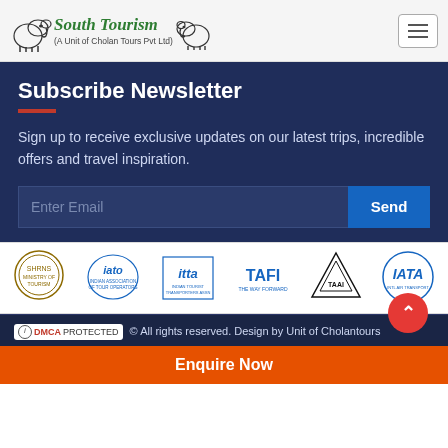South Tourism (A Unit of Cholan Tours Pvt Ltd)
Subscribe Newsletter
Sign up to receive exclusive updates on our latest trips, incredible offers and travel inspiration.
[Figure (other): Email subscription form with 'Enter Email' input field and 'Send' button]
[Figure (other): Row of partner/association logos: SHRNS, IATO, ITTA, TAFI, TAAI, IATA]
DMCA PROTECTED © All rights reserved. Design by Unit of Cholantours
Enquire Now